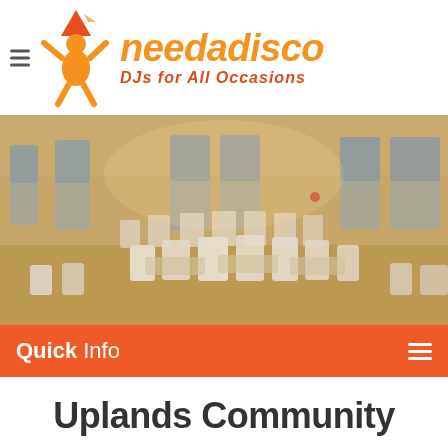[Figure (logo): needadisco logo with figure character and orange text reading 'needadisco DJs for All Occasions']
[Figure (photo): Blurred interior photo of a community hall with white chairs and wooden tables arranged in rows, warm golden lighting]
Quick Info
Uplands Community